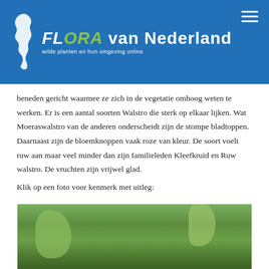[Figure (logo): Flora van Nederland website header with blue background, plant logo on left, hamburger menu icon on right. Logo shows stylized Netherlands map with text 'FLORA van Nederland' and subtitle 'wilde planten en hun omgeving online'.]
beneden gericht waarmee ze zich in de vegetatie omhoog weten te werken. Er is een aantal soorten Walstro die sterk op elkaar lijken. Wat Moeraswalstro van de anderen onderscheidt zijn de stompe bladtoppen. Daarnaast zijn de bloemknoppen vaak roze van kleur. De soort voelt ruw aan maar veel minder dan zijn familieleden Kleefkruid en Ruw walstro. De vruchten zijn vrijwel glad.
Klik op een foto voor kenmerk met uitleg:
[Figure (photo): Photograph of Moeraswalstro plant in its natural habitat, showing green plants and vegetation.]